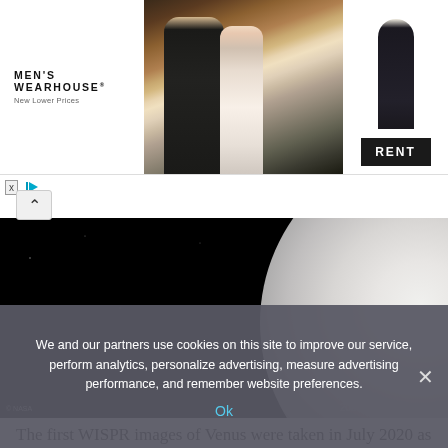[Figure (photo): Men's Wearhouse advertisement banner showing a couple in formal wear on the left, a mannequin in a suit on the right, and a black RENT button]
[Figure (photo): Space image of Venus taken by NASA WISPR instrument, showing the planet against black space background, with timestamp 2021-02-20 20:06:36 in lower right and NASA credit in lower left]
The first WISPR images of Venus were taken in July 2020 as Parker embarked on its third flyby, which the spacecraft uses
We and our partners use cookies on this site to improve our service, perform analytics, personalize advertising, measure advertising performance, and remember website preferences.